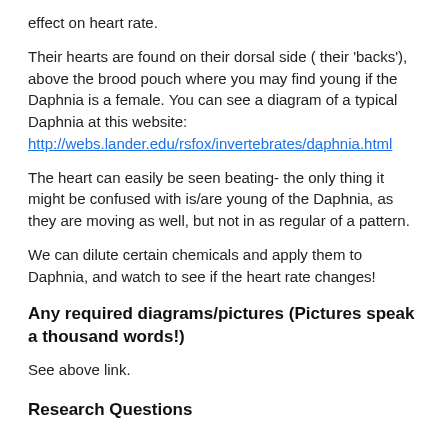effect on heart rate.
Their hearts are found on their dorsal side ( their 'backs'), above the brood pouch where you may find young if the Daphnia is a female. You can see a diagram of a typical Daphnia at this website: http://webs.lander.edu/rsfox/invertebrates/daphnia.html
The heart can easily be seen beating- the only thing it might be confused with is/are young of the Daphnia, as they are moving as well, but not in as regular of a pattern.
We can dilute certain chemicals and apply them to Daphnia, and watch to see if the heart rate changes!
Any required diagrams/pictures (Pictures speak a thousand words!)
See above link.
Research Questions